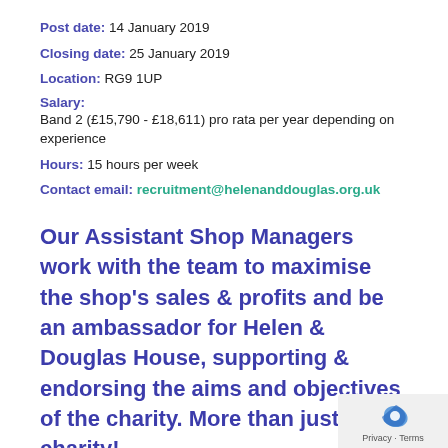Post date: 14 January 2019
Closing date: 25 January 2019
Location: RG9 1UP
Salary: Band 2 (£15,790 - £18,611) pro rata per year depending on experience
Hours: 15 hours per week
Contact email: recruitment@helenanddouglas.org.uk
Our Assistant Shop Managers work with the team to maximise the shop's sales & profits and be an ambassador for Helen & Douglas House, supporting & endorsing the aims and objectives of the charity. More than just a charity!
Do you need a new challenge? Do you want to take back some control of your working life?